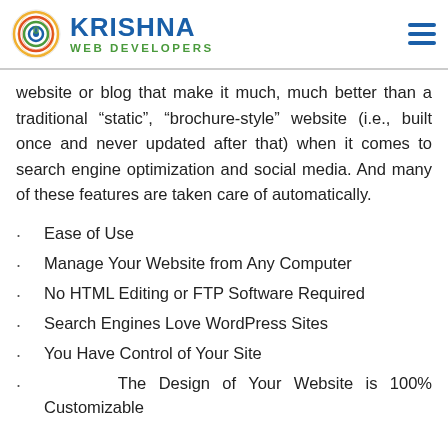KRISHNA WEB DEVELOPERS
website or blog that make it much, much better than a traditional “static”, “brochure-style” website (i.e., built once and never updated after that) when it comes to search engine optimization and social media. And many of these features are taken care of automatically.
Ease of Use
Manage Your Website from Any Computer
No HTML Editing or FTP Software Required
Search Engines Love WordPress Sites
You Have Control of Your Site
The Design of Your Website is 100% Customizable